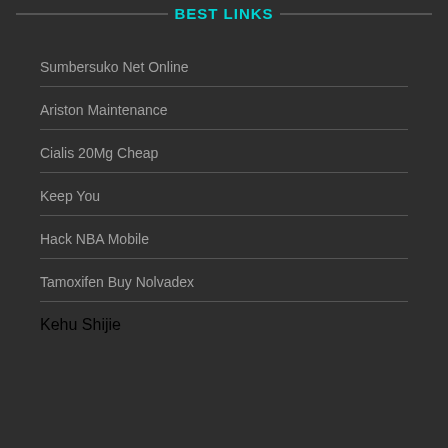BEST LINKS
Sumbersuko Net Online
Ariston Maintenance
Cialis 20Mg Cheap
Keep You
Hack NBA Mobile
Tamoxifen Buy Nolvadex
Kehu Shijie